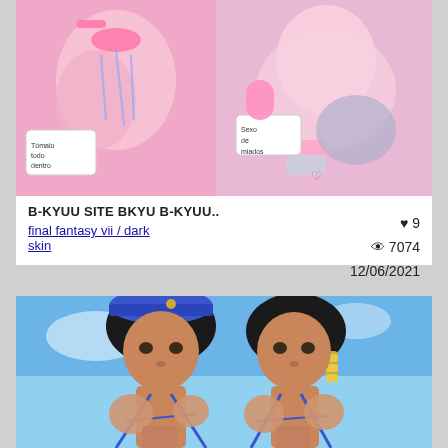[Figure (illustration): Anime-style illustration card showing colorful manga artwork with speech bubbles reading 'Tomalo todo dentro' and 'Sexo de miados']
B-KYUU SITE BKYU B-KYUU..
final fantasy vii / dark skin
♥ 9   👁 7074   12/06/2021
[Figure (illustration): Anime-style illustration of two dark-skinned female characters in blue swimsuit straps, blue sky background. Left character wears blue beret hat, right has black hair with gold accessories.]